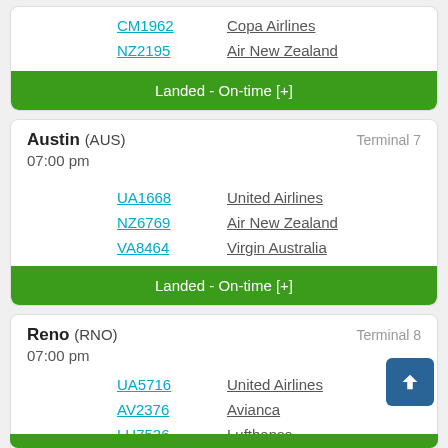| Flight | Airline |
| --- | --- |
| CM1962 | Copa Airlines |
| NZ2195 | Air New Zealand |
Landed - On-time [+]
Austin (AUS)   Terminal 7
07:00 pm
| Flight | Airline |
| --- | --- |
| UA1668 | United Airlines |
| NZ6769 | Air New Zealand |
| VA8464 | Virgin Australia |
Landed - On-time [+]
Reno (RNO)   Terminal 8
07:00 pm
| Flight | Airline |
| --- | --- |
| UA5716 | United Airlines |
| AV2376 | Avianca |
| LH7536 | Lufthansa |
| NZ6929 | Air New Zealand |